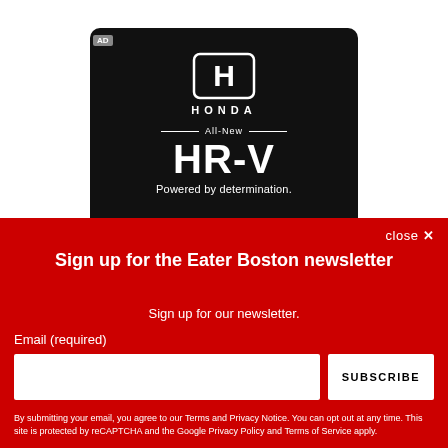[Figure (advertisement): Honda HR-V advertisement on black background. Shows Honda H logo, HONDA wordmark, 'All-New HR-V' text with decorative horizontal rules, and tagline 'Powered by determination.']
close ×
Sign up for the Eater Boston newsletter
Sign up for our newsletter.
Email (required)
SUBSCRIBE
By submitting your email, you agree to our Terms and Privacy Notice. You can opt out at any time. This site is protected by reCAPTCHA and the Google Privacy Policy and Terms of Service apply.